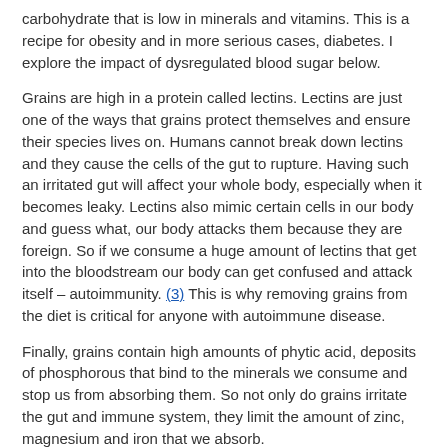carbohydrate that is low in minerals and vitamins. This is a recipe for obesity and in more serious cases, diabetes. I explore the impact of dysregulated blood sugar below.
Grains are high in a protein called lectins. Lectins are just one of the ways that grains protect themselves and ensure their species lives on. Humans cannot break down lectins and they cause the cells of the gut to rupture. Having such an irritated gut will affect your whole body, especially when it becomes leaky. Lectins also mimic certain cells in our body and guess what, our body attacks them because they are foreign. So if we consume a huge amount of lectins that get into the bloodstream our body can get confused and attack itself – autoimmunity. (3) This is why removing grains from the diet is critical for anyone with autoimmune disease.
Finally, grains contain high amounts of phytic acid, deposits of phosphorous that bind to the minerals we consume and stop us from absorbing them. So not only do grains irritate the gut and immune system, they limit the amount of zinc, magnesium and iron that we absorb.
For more on grains, check out this article.